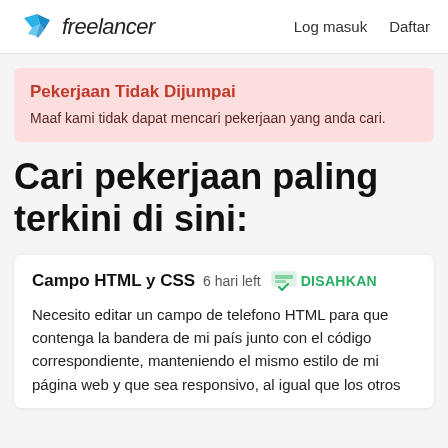freelancer  Log masuk  Daftar
Pekerjaan Tidak Dijumpai
Maaf kami tidak dapat mencari pekerjaan yang anda cari.
Cari pekerjaan paling terkini di sini:
Campo HTML y CSS  6 hari left  DISAHKAN
Necesito editar un campo de telefono HTML para que contenga la bandera de mi país junto con el código correspondiente, manteniendo el mismo estilo de mi página web y que sea responsivo, al igual que los otros